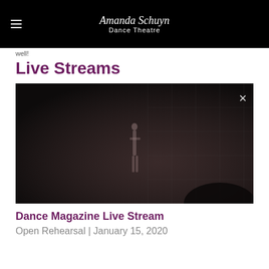Amanda Schull Dance Theatre
well!
Live Streams
[Figure (photo): Dark video frame from a dance rehearsal, showing a dancer silhouette in a dimly lit studio with grid-like window panels visible in background. An X close button is visible in the upper right corner.]
Dance Magazine Live Stream
Open Rehearsal | January 15, 2020